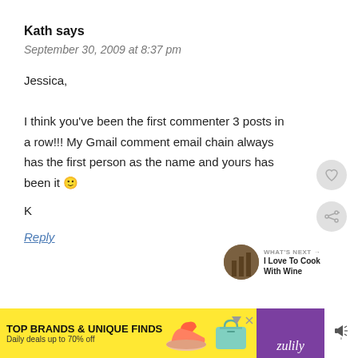Kath says
September 30, 2009 at 8:37 pm
Jessica,
I think you've been the first commenter 3 posts in a row!!! My Gmail comment email chain always has the first person as the name and yours has been it 🙂

K
Reply
[Figure (infographic): Advertisement banner: TOP BRANDS & UNIQUE FINDS, Daily deals up to 70% off, with shoe and bag images, Zulily branding in purple]
[Figure (infographic): WHAT'S NEXT arrow widget: I Love To Cook With Wine, small thumbnail image]